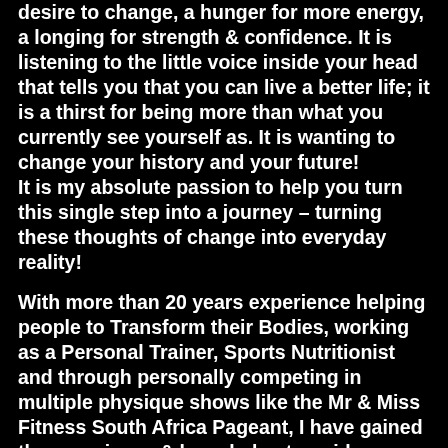desire to change, a hunger for more energy, a longing for strength & confidence. It is listening to the little voice inside your head that tells you that you can live a better life; it is a thirst for being more than what you currently see yourself as. It is wanting to change your history and your future!
It is my absolute passion to help you turn this single step into a journey – turning these thoughts of change into everyday reality!

With more than 20 years experience helping people to Transform their Bodies, working as a Personal Trainer, Sports Nutritionist and through personally competing in multiple physique shows like the Mr & Miss Fitness South Africa Pageant, I have gained the experience & knowledge to guide